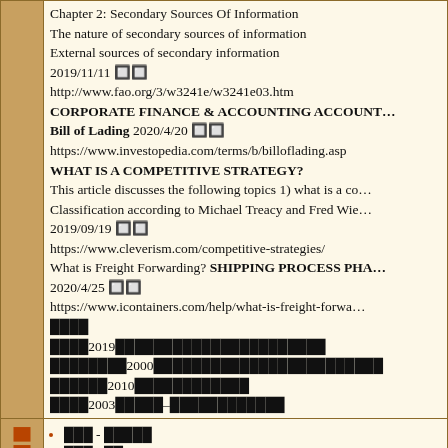Chapter 2: Secondary Sources Of Information
The nature of secondary sources of information
External sources of secondary information
2019/11/11 🔲🔲
http://www.fao.org/3/w3241e/w3241e03.htm
CORPORATE FINANCE & ACCOUNTING ACCOUNT...
Bill of Lading 2020/4/20 🔲🔲
https://www.investopedia.com/terms/b/billoflading.asp
WHAT IS A COMPETITIVE STRATEGY?
This article discusses the following topics 1) what is a co...
Classification according to Michael Treacy and Fred Wie...
2019/09/19 🔲🔲
https://www.cleverism.com/competitive-strategies/
What is Freight Forwarding? SHIPPING PROCESS PHA...
2020/4/25 🔲🔲
https://www.icontainers.com/help/what-is-freight-forwar...
🔲🔲🔲🔲
🔲🔲🔲🔲2019🔲🔲🔲🔲🔲🔲🔲🔲🔲🔲🔲🔲🔲🔲🔲🔲🔲🔲🔲🔲🔲🔲
🔲🔲🔲🔲🔲🔲🔲🔲2000🔲🔲🔲🔲🔲🔲🔲🔲🔲🔲🔲🔲🔲🔲🔲🔲🔲🔲🔲🔲🔲🔲🔲🔲
🔲🔲🔲🔲🔲🔲2010🔲🔲🔲🔲🔲🔲🔲🔲🔲🔲🔲🔲
🔲🔲🔲🔲2003🔲🔲🔲🔲🔲–🔲🔲🔲🔲🔲🔲🔲🔲🔲🔲🔲🔲
🔲🔲🔲 - 🔲🔲🔲🔲🔲
🔲🔲🔲 - 🔲🔲
🔲🔲🔲 - 🔲🔲🔲🔲🔲